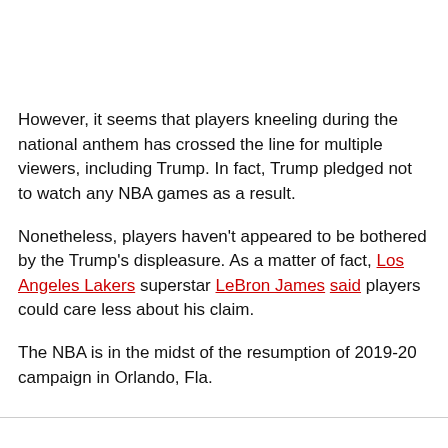However, it seems that players kneeling during the national anthem has crossed the line for multiple viewers, including Trump. In fact, Trump pledged not to watch any NBA games as a result.
Nonetheless, players haven't appeared to be bothered by the Trump's displeasure. As a matter of fact, Los Angeles Lakers superstar LeBron James said players could care less about his claim.
The NBA is in the midst of the resumption of 2019-20 campaign in Orlando, Fla.